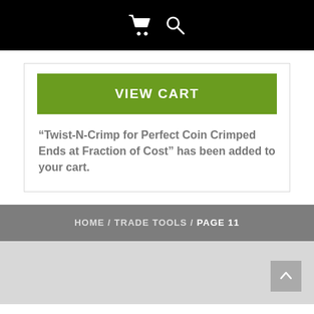[Shopping cart icon] [Search icon]
VIEW CART
“Twist-N-Crimp for Perfect Coin Crimped Ends at Fraction of Cost” has been added to your cart.
HOME / TRADE TOOLS / PAGE 11